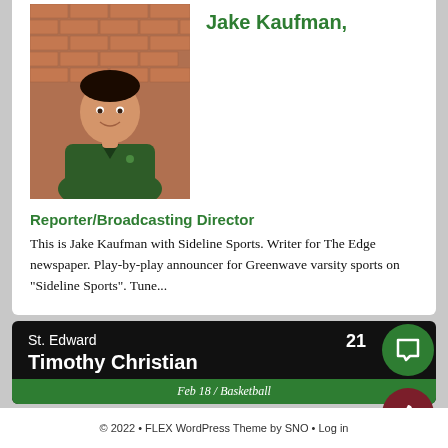Jake Kaufman,
[Figure (photo): Headshot of Jake Kaufman, a young man in a green polo shirt standing in front of a brick wall]
Reporter/Broadcasting Director
This is Jake Kaufman with Sideline Sports. Writer for The Edge newspaper. Play-by-play announcer for Greenwave varsity sports on "Sideline Sports". Tune...
St. Edward
Timothy Christian
21
Feb 18 / Basketball
© 2022 • FLEX WordPress Theme by SNO • Log in